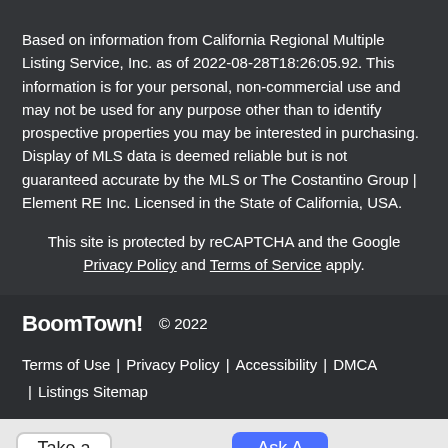Based on information from California Regional Multiple Listing Service, Inc. as of 2022-08-28T18:26:05.92. This information is for your personal, non-commercial use and may not be used for any purpose other than to identify prospective properties you may be interested in purchasing. Display of MLS data is deemed reliable but is not guaranteed accurate by the MLS or The Costantino Group | Element RE Inc. Licensed in the State of California, USA.
This site is protected by reCAPTCHA and the Google Privacy Policy and Terms of Service apply.
BoomTown! © 2022
Terms of Use | Privacy Policy | Accessibility | DMCA | Listings Sitemap
Take a Tour
Ask A Question